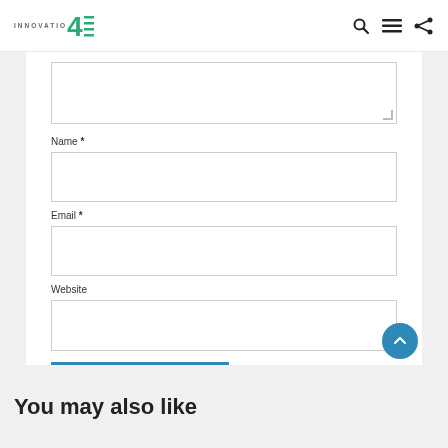INNOVATION4E
[Figure (screenshot): Website comment form with Name, Email, Website fields and Submit Comment button]
Name *
Email *
Website
SUBMIT COMMENT
You may also like